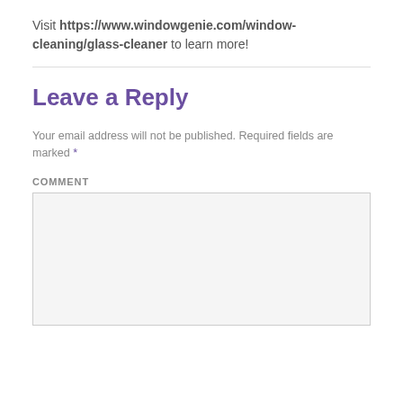Visit https://www.windowgenie.com/window-cleaning/glass-cleaner to learn more!
Leave a Reply
Your email address will not be published. Required fields are marked *
COMMENT